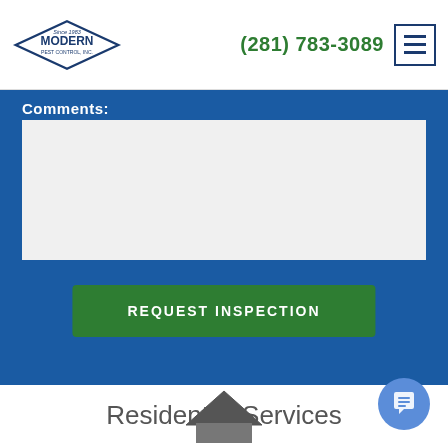Modern Pest Control, Inc. — (281) 783-3089
Comments:
[Figure (screenshot): Gray textarea input box for comments]
REQUEST INSPECTION
Residential Services
[Figure (illustration): House roof icon at bottom of page]
[Figure (illustration): Blue circular chat button with message icon]